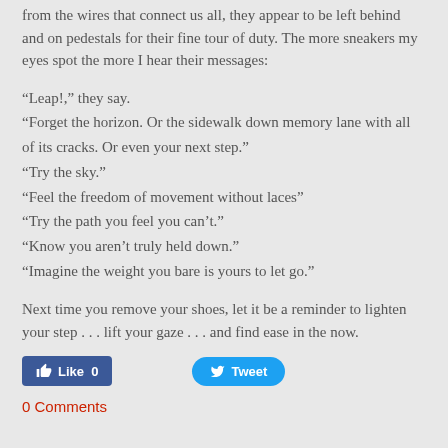from the wires that connect us all, they appear to be left behind and on pedestals for their fine tour of duty. The more sneakers my eyes spot the more I hear their messages:
“Leap!,” they say.
“Forget the horizon. Or the sidewalk down memory lane with all of its cracks. Or even your next step.”
“Try the sky.”
“Feel the freedom of movement without laces”
“Try the path you feel you can’t.”
“Know you aren’t truly held down.”
“Imagine the weight you bare is yours to let go.”
Next time you remove your shoes, let it be a reminder to lighten your step . . .  lift your gaze . . . and find ease in the now.
[Figure (other): Facebook Like button with count 0 and Twitter Tweet button]
0 Comments